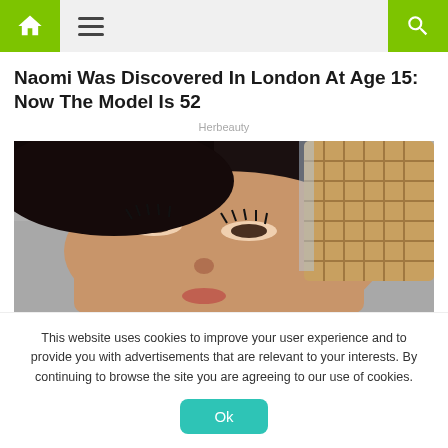Navigation bar with home icon, hamburger menu, and search icon
Naomi Was Discovered In London At Age 15: Now The Model Is 52
Herbeauty
[Figure (photo): Close-up photo of a woman with dark hair looking upward, holding a waffle ice cream cone]
This website uses cookies to improve your user experience and to provide you with advertisements that are relevant to your interests. By continuing to browse the site you are agreeing to our use of cookies.